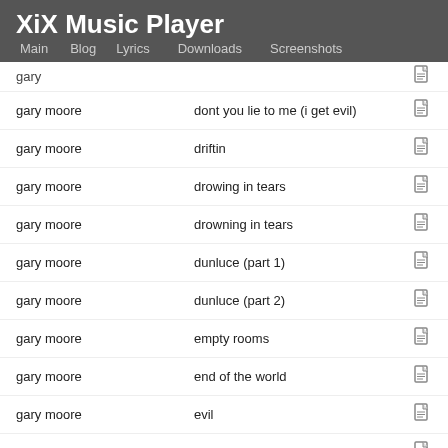XiX Music Player — Main | Blog | Lyrics | Downloads | Screenshots
gary moore | dont you lie to me (i get evil)
gary moore | driftin
gary moore | drowing in tears
gary moore | drowning in tears
gary moore | dunluce (part 1)
gary moore | dunluce (part 2)
gary moore | empty rooms
gary moore | end of the world
gary moore | evil
gary moore | falling in love
gary moore | falling in love with...